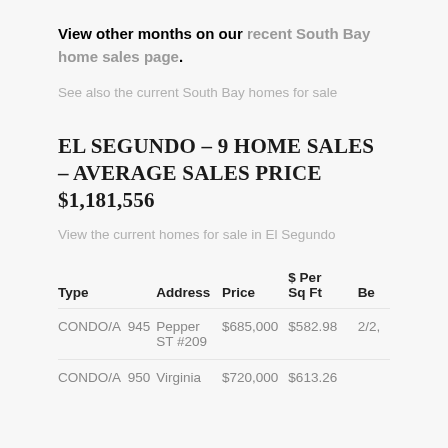View other months on our recent South Bay home sales page.
See also the current South Bay homes for sale
EL SEGUNDO – 9 HOME SALES – AVERAGE SALES PRICE $1,181,556
View the current homes for sale in El Segundo
| Type | Address | Price | $ Per Sq Ft | Be… |
| --- | --- | --- | --- | --- |
| CONDO/A 945 | Pepper ST #209 | $685,000 | $582.98 | 2/2… |
| CONDO/A 950 | Virginia | $720,000 | $613.26 | … |